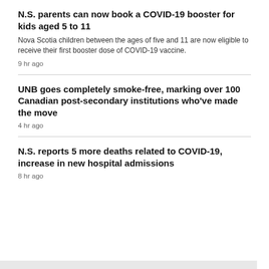N.S. parents can now book a COVID-19 booster for kids aged 5 to 11
Nova Scotia children between the ages of five and 11 are now eligible to receive their first booster dose of COVID-19 vaccine.
9 hr ago
UNB goes completely smoke-free, marking over 100 Canadian post-secondary institutions who've made the move
4 hr ago
N.S. reports 5 more deaths related to COVID-19, increase in new hospital admissions
8 hr ago